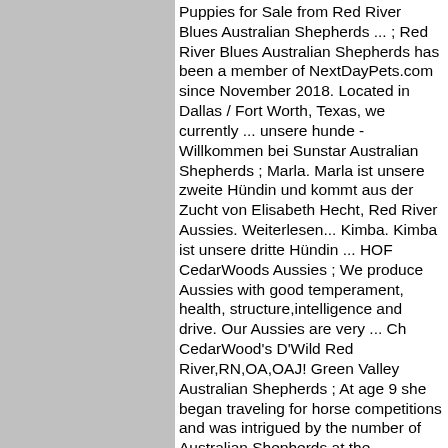[Figure (other): Gray rectangular panel on the left side of the page]
Puppies for Sale from Red River Blues Australian Shepherds ... ; Red River Blues Australian Shepherds has been a member of NextDayPets.com since November 2018. Located in Dallas / Fort Worth, Texas, we currently ... unsere hunde - Willkommen bei Sunstar Australian Shepherds ; Marla. Marla ist unsere zweite Hündin und kommt aus der Zucht von Elisabeth Hecht, Red River Aussies. Weiterlesen... Kimba. Kimba ist unsere dritte Hündin ... HOF CedarWoods Aussies ; We produce Aussies with good temperament, health, structure,intelligence and drive. Our Aussies are very ... Ch CedarWood's D'Wild Red River,RN,OA,OAJ! Green Valley Australian Shepherds ; At age 9 she began traveling for horse competitions and was intrigued by the number of Australian Shepherds at the horseshows. Her inquiries guided her to the ...Australian Shepherd Dog Breed Information and Pictures ; Puntici the red merle Australian Shepherd, photo courtesy of Helena Mikey the Aussie lives with 5 horses, a larger heard of goats and 3 dogs LionHill's Red Baron, photo courtesy of